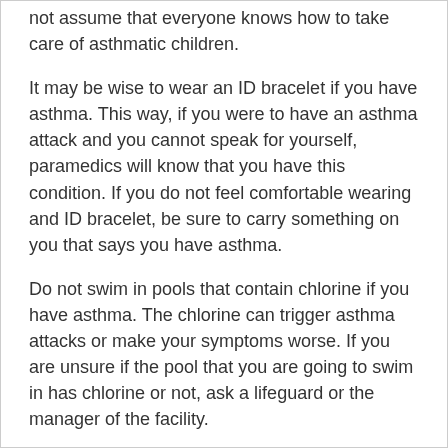not assume that everyone knows how to take care of asthmatic children.
It may be wise to wear an ID bracelet if you have asthma. This way, if you were to have an asthma attack and you cannot speak for yourself, paramedics will know that you have this condition. If you do not feel comfortable wearing and ID bracelet, be sure to carry something on you that says you have asthma.
Do not swim in pools that contain chlorine if you have asthma. The chlorine can trigger asthma attacks or make your symptoms worse. If you are unsure if the pool that you are going to swim in has chlorine or not, ask a lifeguard or the manager of the facility.
A great tip that can help you manage your asthma is to keep your home clean. If your house is messy, you'll be much more susceptible to having an asthma attack. Make sure you don't use any cleaning products that have harsh chemicals in them because they can also trigger asthma.